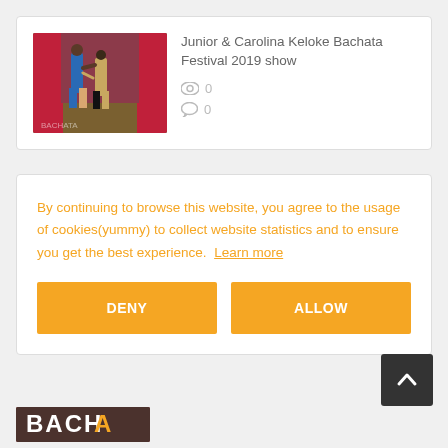[Figure (photo): Thumbnail of two dancers at Bachata Festival 2019 show, with red curtain background]
Junior & Carolina Keloke Bachata Festival 2019 show
0 views, 0 comments
By continuing to browse this website, you agree to the usage of cookies(yummy) to collect website statistics and to ensure you get the best experience. Learn more